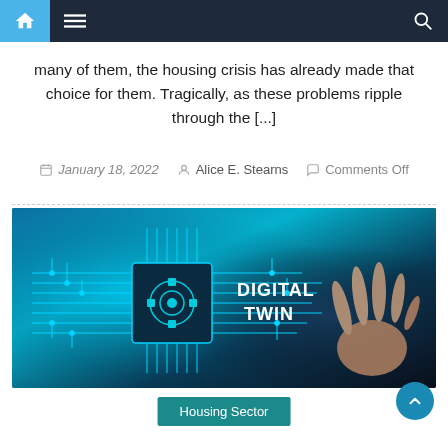Navigation bar with home, menu, and search icons
many of them, the housing crisis has already made that choice for them. Tragically, as these problems ripple through the [...]
January 18, 2022  Alice E. Stearns  Comments Off
[Figure (photo): Digital Twin concept image showing a circuit board with 'DIGITAL TWIN' text overlay and a hand touching a digital interface screen, with blue teal glowing circuit lines]
Housing Sector